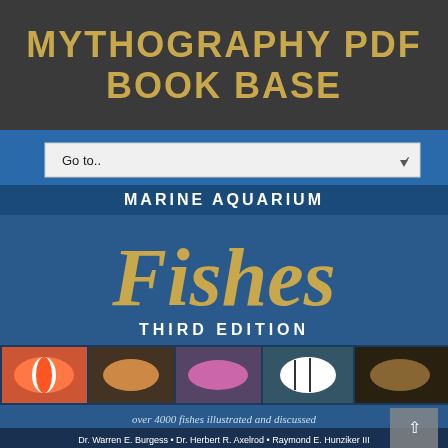MYTHOGRAPHY PDF BOOK BASE
[Figure (screenshot): Screenshot of a website showing a dropdown 'Go to..' navigation bar overlaid on a book cover image of 'Dr. Burgess's Atlas of Marine Aquarium Fishes, Third Edition' with text 'over 4000 fishes illustrated and discussed' and authors 'Dr. Warren E. Burgess • Dr. Herbert R. Axelrod • Raymond E. Hunziker III']